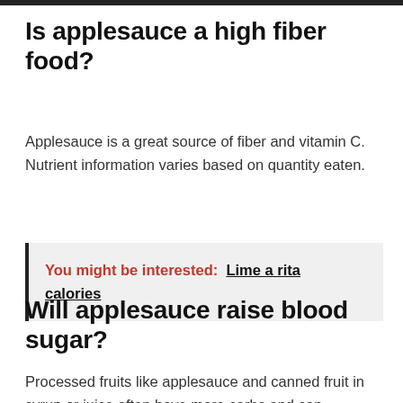Is applesauce a high fiber food?
Applesauce is a great source of fiber and vitamin C. Nutrient information varies based on quantity eaten.
You might be interested: Lime a rita calories
Will applesauce raise blood sugar?
Processed fruits like applesauce and canned fruit in syrup or juice often have more carbs and can